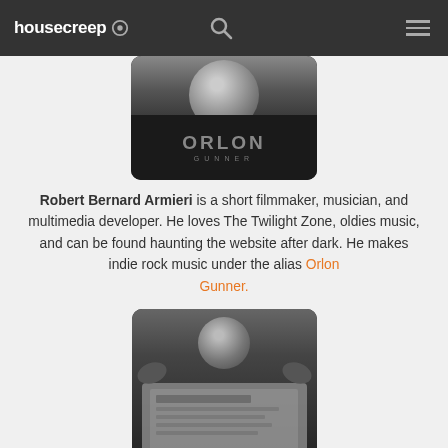housecreep
[Figure (photo): Black and white photo showing a person's face partially visible at top, with text 'ORLON GUNNER' displayed on a dark card/background below]
Robert Bernard Armieri is a short filmmaker, musician, and multimedia developer. He loves The Twilight Zone, oldies music, and can be found haunting the website after dark. He makes indie rock music under the alias Orlon Gunner.
[Figure (photo): Black and white photo of a man holding up a newspaper in front of his face, peering over the top of it]
Albert Armieri has worked in research and